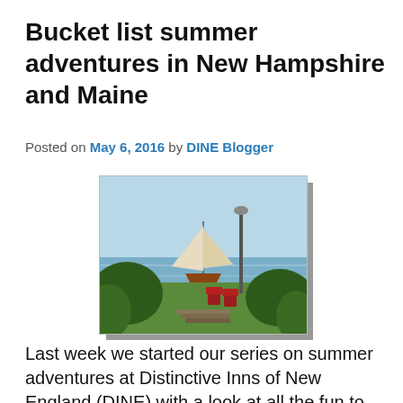Bucket list summer adventures in New Hampshire and Maine
Posted on May 6, 2016 by DINE Blogger
[Figure (photo): Coastal New England scene with a sailboat on calm water, red Adirondack chairs on a green lawn, and a lamp post, framed by trees and shrubs]
Last week we started our series on summer adventures at Distinctive Inns of New England (DINE) with a look at all the fun to be had at our Massachusetts member inns. Click here to read all about it, and after... Read more